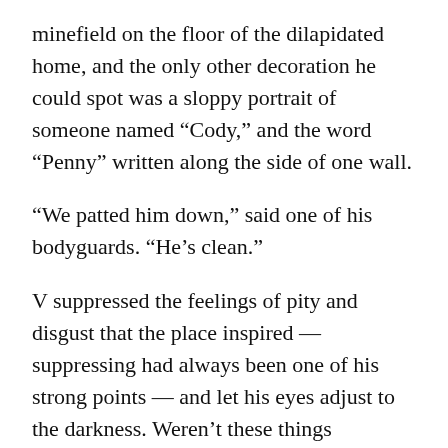minefield on the floor of the dilapidated home, and the only other decoration he could spot was a sloppy portrait of someone named “Cody,” and the word “Penny” written along the side of one wall.
“We patted him down,” said one of his bodyguards. “He’s clean.”
V suppressed the feelings of pity and disgust that the place inspired — suppressing had always been one of his strong points — and let his eyes adjust to the darkness. Weren’t these things supposed to have windows? He peered through the dust and made out the shape of a robot at a flimsy kitchen table. There were two chairs.
“IT’S A CONVERTED SUBMARINE,” said Terrence, reading his mind. “PART OF ONE, ANYWAY. I GOT IT CHEAP AT A GOVERNMENT FIRE SALE.”